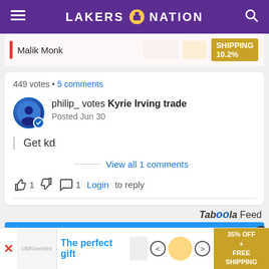LAKERS NATION
[Figure (screenshot): Partial poll row showing Malik Monk with 10.2% statistic badge]
449 votes • 5 comments
philip_ votes Kyrie Irving trade
Posted Jun 30
Get kd
View all 1 comments
1 [thumbs up] [thumbs down] 1 Login to reply
Taboola Feed
[Figure (screenshot): Partial bottom blue advertisement banner with X close button]
[Figure (screenshot): Sticky bottom advertisement: The perfect gift - 35% OFF + FREE SHIPPING]